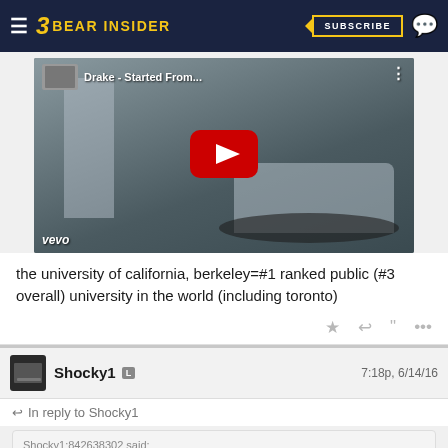Bear Insider — SUBSCRIBE
[Figure (screenshot): YouTube video thumbnail showing Drake - Started From... music video on Vevo, with a white car in a snowy scene and a red YouTube play button]
the university of california, berkeley=#1 ranked public (#3 overall) university in the world (including toronto)
Shocky1  7:18p, 6/14/16
In reply to Shocky1
Shocky1:842638302 said:
canadian 6'6" 200 lbs 2017 wing abu kigab from st catherine's ontario was in the haas saturday nite on an unofficial visit for cal's stormin' the floor victoay over arizona...yeah, coach martin has offered them, along lines with california def...